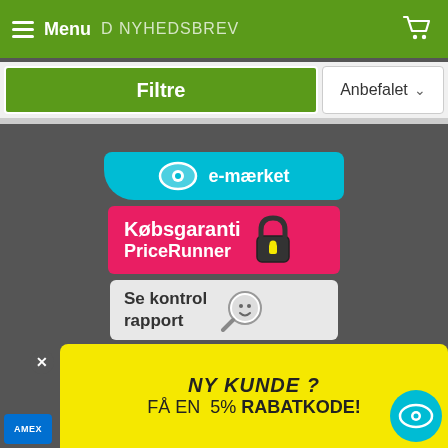Menu D NYHEDSBREV
Filtre
Anbefalet
[Figure (logo): e-mærket certification badge in cyan/turquoise color with eye logo]
[Figure (logo): Købsgaranti PriceRunner badge in pink/magenta color with padlock icon]
[Figure (logo): Se kontrol rapport badge with magnifying glass icon]
[Figure (logo): Danish e-commerce trustmark badge with Danish flag and text: Klik her for at se, om dette websted drives på lovlig vis]
NY KUNDE ? FÅ EN 5% RABATKODE!